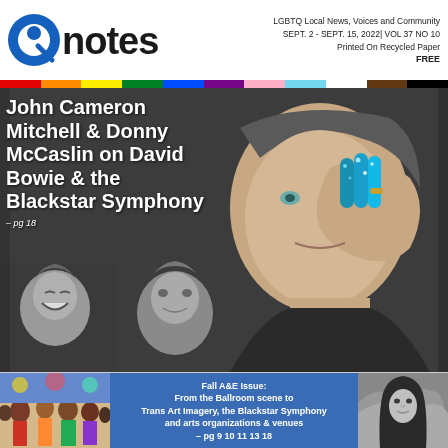LGBTQ Local News, Voices and Community
SEPT. 2 - SEPT. 15, 2022| VOL 37 NO 10
Printed On Recycled Paper
FREE
Qnotes
[Figure (photo): Rainbow pride bar divider]
[Figure (photo): Cover photo: John Cameron Mitchell holding hand to face with blue glitter on fingers, dark background; smaller black-and-white photos of two other individuals in lower left]
John Cameron Mitchell & Donny McCaslin on David Bowie & the Blackstar Symphony
– pg 18
[Figure (photo): Bottom left: group of performers at a colorful event]
Fall A&E Issue:
From the Ballroom scene to Trans Art Imagery, the Blackstar Symphony and arts organizations & venues
– pg 9 10 11 13 18
[Figure (photo): Bottom right: black and white photo of a person with long dark hair]